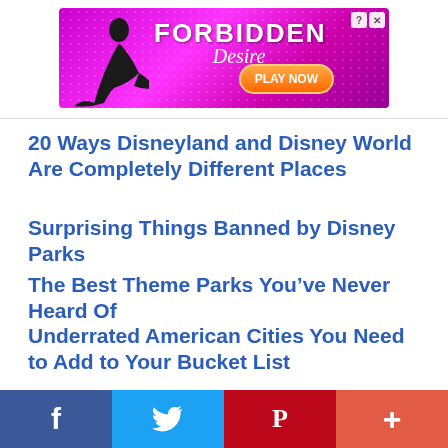[Figure (screenshot): Advertisement banner for 'Forbidden Desire' game with pink/purple background, silhouette of woman, and 'PLAY NOW' orange button]
20 Ways Disneyland and Disney World Are Completely Different Places
Surprising Things Banned by Disney Parks
The Best Theme Parks You've Never Heard Of
Underrated American Cities You Need to Add to Your Bucket List
[Figure (screenshot): Social media share buttons: Facebook, Twitter, Pinterest, Email, Share icons row, and bottom bar with Facebook, Twitter, Pinterest, and more (+) sharing buttons]